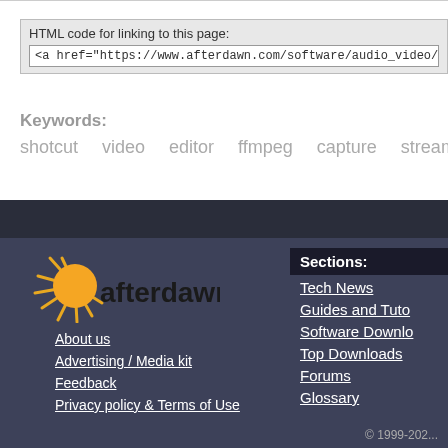HTML code for linking to this page:
<a href="https://www.afterdawn.com/software/audio_video/video_editing/shotcut-portable-32
Keywords:
shotcut   video   editor   ffmpeg   capture   stream
[Figure (logo): afterdawn.com logo with sun rays and orange circle]
About us
Advertising / Media kit
Feedback
Privacy policy & Terms of Use
Sections:
Tech News
Guides and Tuto
Software Downlo
Top Downloads
Forums
Glossary
© 1999-202...